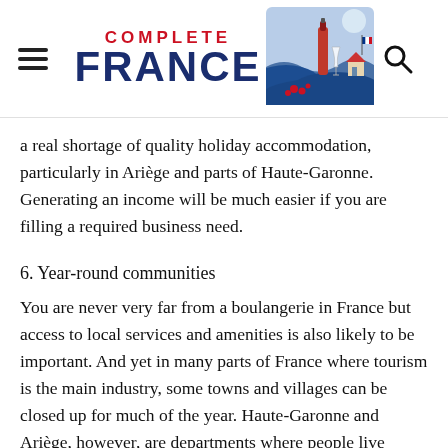COMPLETE FRANCE
a real shortage of quality holiday accommodation, particularly in Ariège and parts of Haute-Garonne. Generating an income will be much easier if you are filling a required business need.
6. Year-round communities
You are never very far from a boulangerie in France but access to local services and amenities is also likely to be important. And yet in many parts of France where tourism is the main industry, some towns and villages can be closed up for much of the year. Haute-Garonne and Ariège, however, are departments where people live